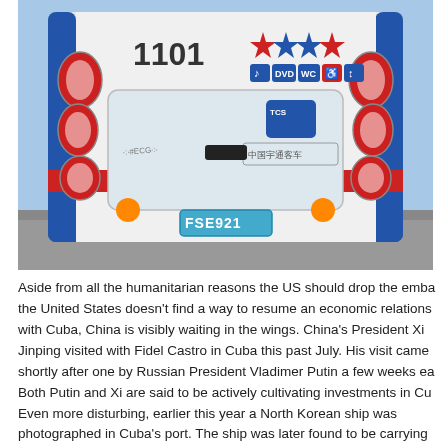[Figure (photo): Rear view of a white and blue bus with number 1101, license plate FSE921, four-star rating sticker, amenity icons (music, DVD, WC, accessibility), and a TCS logo visible. The bus has red tail lights on both sides and a red stripe across the lower rear panel.]
Aside from all the humanitarian reasons the US should drop the emba the United States doesn't find a way to resume an economic relations with Cuba, China is visibly waiting in the wings. China's President Xi Jinping visited with Fidel Castro in Cuba this past July. His visit came shortly after one by Russian President Vladimer Putin a few weeks ea Both Putin and Xi are said to be actively cultivating investments in Cu Even more disturbing, earlier this year a North Korean ship was photographed in Cuba's port. The ship was later found to be carrying obsolete arms dating as far back as the 1960s. Opinions vary as to t